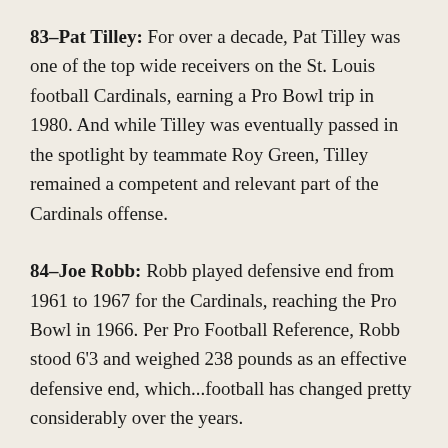83–Pat Tilley: For over a decade, Pat Tilley was one of the top wide receivers on the St. Louis football Cardinals, earning a Pro Bowl trip in 1980. And while Tilley was eventually passed in the spotlight by teammate Roy Green, Tilley remained a competent and relevant part of the Cardinals offense.
84–Joe Robb: Robb played defensive end from 1961 to 1967 for the Cardinals, reaching the Pro Bowl in 1966. Per Pro Football Reference, Robb stood 6'3 and weighed 238 pounds as an effective defensive end, which...football has changed pretty considerably over the years.